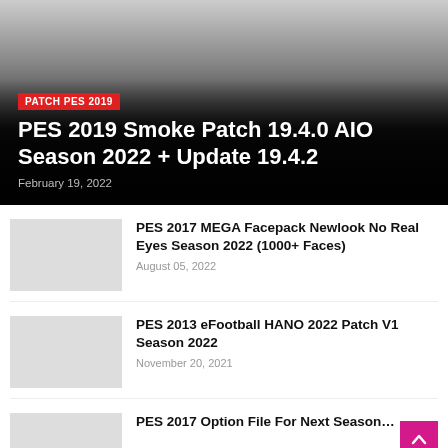[Figure (photo): Hero image with gradient overlay for PES 2019 Smoke Patch article]
PES 2019 Smoke Patch 19.4.0 AIO Season 2022 + Update 19.4.2
February 19, 2022
[Figure (photo): Thumbnail for PES 2017 MEGA Facepack article]
PES 2017 MEGA Facepack Newlook No Real Eyes Season 2022 (1000+ Faces)
August 05, 2022
[Figure (photo): Thumbnail for PES 2013 eFootball HANO 2022 Patch article]
PES 2013 eFootball HANO 2022 Patch V1 Season 2022
November 20, 2021
[Figure (photo): Thumbnail for PES 2017 Option File article (partially visible)]
PES 2017 Option File For Next Season…